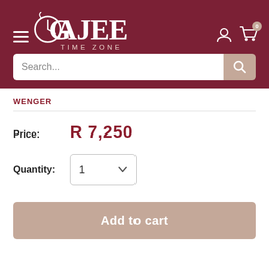[Figure (logo): Cajees Time Zone logo — white circular clock icon with text CAJEES TIME ZONE on dark red background]
Search...
WENGER
Price: R 7,250
Quantity: 1
Add to cart